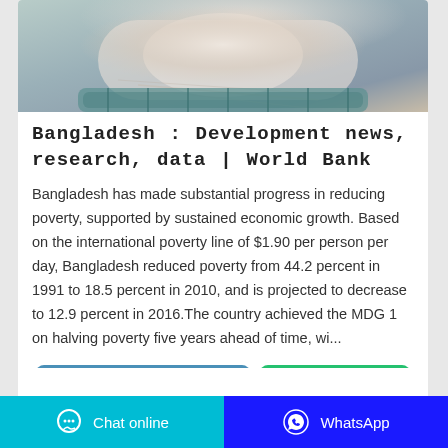[Figure (photo): Photo of a baby or infant wrapped in white cloth/towel, held in arms, partially visible at the top of the card.]
Bangladesh : Development news, research, data | World Bank
Bangladesh has made substantial progress in reducing poverty, supported by sustained economic growth. Based on the international poverty line of $1.90 per person per day, Bangladesh reduced poverty from 44.2 percent in 1991 to 18.5 percent in 2010, and is projected to decrease to 12.9 percent in 2016.The country achieved the MDG 1 on halving poverty five years ahead of time, wi...
Contact the manufacturer
WhatsApp
Chat online   WhatsApp